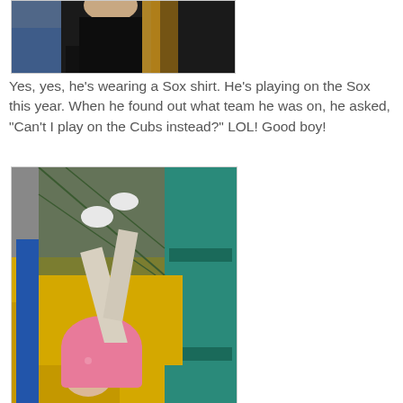[Figure (photo): Partial photo showing a person in a black shirt, cropped at the top]
Yes, yes, he's wearing a Sox shirt. He's playing on the Sox this year. When he found out what team he was on, he asked, "Can't I play on the Cubs instead?" LOL! Good boy!
[Figure (photo): A young girl in a pink shirt climbing or hanging upside-down on colorful playground equipment with teal/green padded poles and yellow/green surfaces]